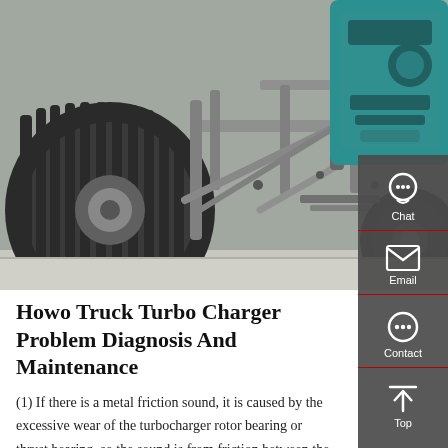[Figure (photo): Undercarriage view of a Howo truck showing the axle, suspension, tires, and a teal/green engine or component visible in the upper right.]
Howo Truck Turbo Charger Problem Diagnosis And Maintenance
(1) If there is a metal friction sound, it is caused by the excessive wear of the turbocharger rotor bearing or thrust bearing, so the sound is from friction between the impeller shaft and the shell. (2) If it is not the metal friction sound but